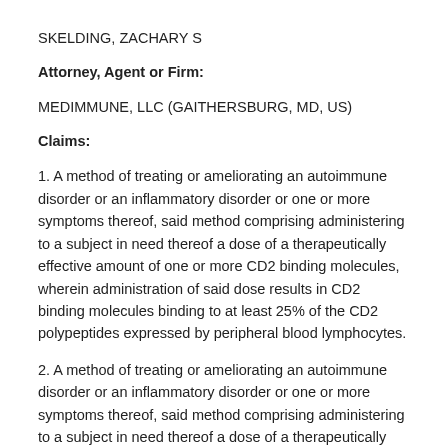SKELDING, ZACHARY S
Attorney, Agent or Firm:
MEDIMMUNE, LLC (GAITHERSBURG, MD, US)
Claims:
1. A method of treating or ameliorating an autoimmune disorder or an inflammatory disorder or one or more symptoms thereof, said method comprising administering to a subject in need thereof a dose of a therapeutically effective amount of one or more CD2 binding molecules, wherein administration of said dose results in CD2 binding molecules binding to at least 25% of the CD2 polypeptides expressed by peripheral blood lymphocytes.
2. A method of treating or ameliorating an autoimmune disorder or an inflammatory disorder or one or more symptoms thereof, said method comprising administering to a subject in need thereof a dose of a therapeutically effective amount of one or more CD2 binding molecules, wherein administration of said dose results in a mean absolute lymphocyte count of approximately 500 cells/µl to below 1200 cells/µl.
3. A method of treating or ameliorating an autoimmune disorder or an